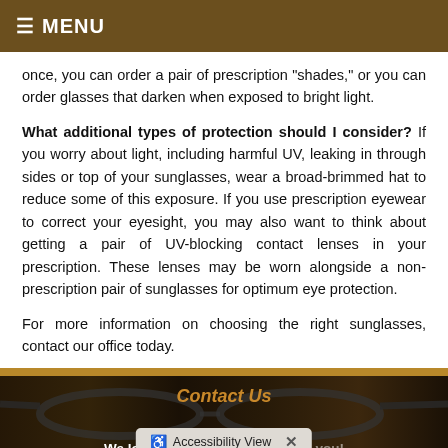≡ MENU
once, you can order a pair of prescription "shades," or you can order glasses that darken when exposed to bright light.
What additional types of protection should I consider? If you worry about light, including harmful UV, leaking in through sides or top of your sunglasses, wear a broad-brimmed hat to reduce some of this exposure. If you use prescription eyewear to correct your eyesight, you may also want to think about getting a pair of UV-blocking contact lenses in your prescription. These lenses may be worn alongside a non-prescription pair of sunglasses for optimum eye protection.
For more information on choosing the right sunglasses, contact our office today.
[Figure (photo): Dark background photo showing eyeglasses frames with a 'Contact Us' heading in gold italic text and 'We look forward to hearing from you!' text below]
Accessibility View ×